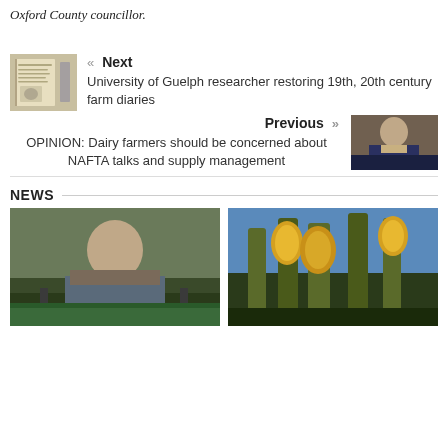Oxford County councillor.
« Next
University of Guelph researcher restoring 19th, 20th century farm diaries
Previous »
OPINION: Dairy farmers should be concerned about NAFTA talks and supply management
NEWS
[Figure (photo): Thumbnail image of old diary pages with handwriting and a photograph]
[Figure (photo): Thumbnail of a man in a suit]
[Figure (photo): Photo of a man outdoors near farm fence]
[Figure (photo): Photo of corn on stalks against blue sky]